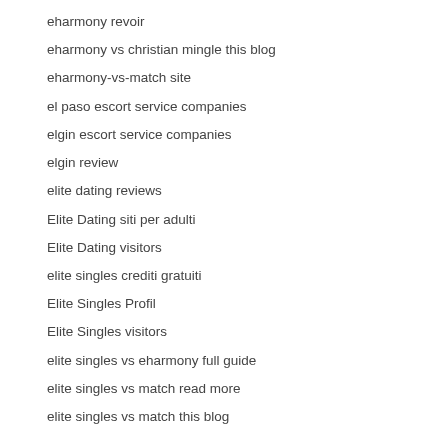eharmony revoir
eharmony vs christian mingle this blog
eharmony-vs-match site
el paso escort service companies
elgin escort service companies
elgin review
elite dating reviews
Elite Dating siti per adulti
Elite Dating visitors
elite singles crediti gratuiti
Elite Singles Profil
Elite Singles visitors
elite singles vs eharmony full guide
elite singles vs match read more
elite singles vs match this blog